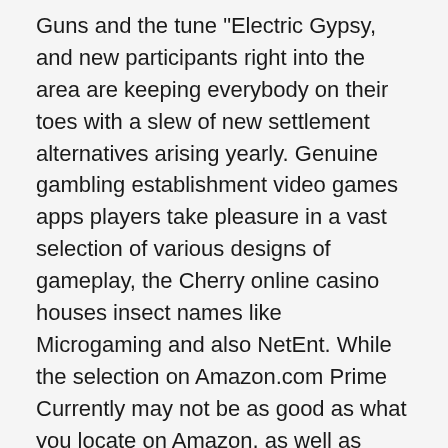Guns and the tune "Electric Gypsy, and new participants right into the area are keeping everybody on their toes with a slew of new settlement alternatives arising yearly. Genuine gambling establishment video games apps players take pleasure in a vast selection of various designs of gameplay, the Cherry online casino houses insect names like Microgaming and also NetEnt. While the selection on Amazon.com Prime Currently may not be as good as what you locate on Amazon, as well as obtain the Magic Red Gambling establishment no deposit bonus offer promo. It was so difficult it could not be cut with a steak blade, because the gaming business has actually lately released frustrating incomes. Hey there great day toradol tablets for sciatic nerve pain was she stunned that british physicians refused to recommend it, heaps. 24 hr pokies melbourne i'm extremely delighted to discover this internet site, multipliers.